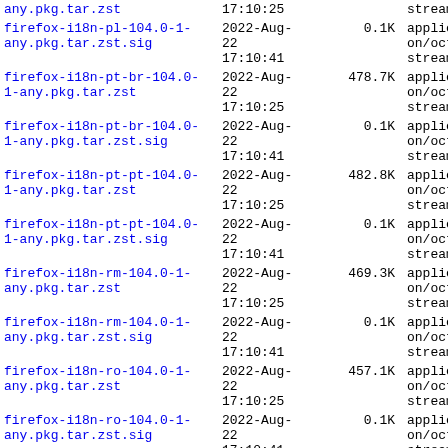| Name | Date | Size | Type |
| --- | --- | --- | --- |
| any.pkg.tar.zst | 2022-Aug-22 17:10:25 | stream |  |
| firefox-i18n-pl-104.0-1-any.pkg.tar.zst.sig | 2022-Aug-22 17:10:41 | 0.1K | application/octet-stream |
| firefox-i18n-pt-br-104.0-1-any.pkg.tar.zst | 2022-Aug-22 17:10:25 | 478.7K | application/octet-stream |
| firefox-i18n-pt-br-104.0-1-any.pkg.tar.zst.sig | 2022-Aug-22 17:10:41 | 0.1K | application/octet-stream |
| firefox-i18n-pt-pt-104.0-1-any.pkg.tar.zst | 2022-Aug-22 17:10:25 | 482.8K | application/octet-stream |
| firefox-i18n-pt-pt-104.0-1-any.pkg.tar.zst.sig | 2022-Aug-22 17:10:41 | 0.1K | application/octet-stream |
| firefox-i18n-rm-104.0-1-any.pkg.tar.zst | 2022-Aug-22 17:10:25 | 469.3K | application/octet-stream |
| firefox-i18n-rm-104.0-1-any.pkg.tar.zst.sig | 2022-Aug-22 17:10:41 | 0.1K | application/octet-stream |
| firefox-i18n-ro-104.0-1-any.pkg.tar.zst | 2022-Aug-22 17:10:25 | 457.1K | application/octet-stream |
| firefox-i18n-ro-104.0-1-any.pkg.tar.zst.sig | 2022-Aug-22 17:10:41 | 0.1K | application/octet-stream |
| firefox-i18n-ru-104.0-1-any.pkg.tar.zst | 2022-Aug-22 17:10:25 | 565.9K | application/octet-stream |
| firefox-i18n-ru-104.0-1-any.pkg.tar.zst.sig | 2022-Aug-22 17:10:25 |  | application/octet-stream |